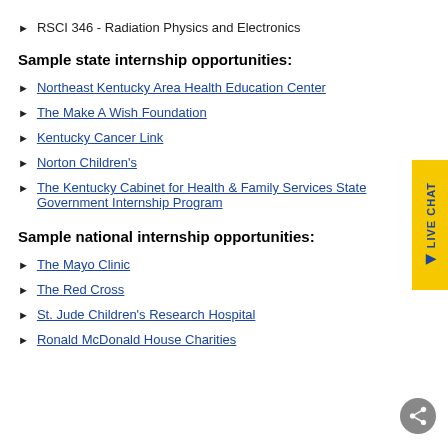RSCI 346 - Radiation Physics and Electronics
Sample state internship opportunities:
Northeast Kentucky Area Health Education Center
The Make A Wish Foundation
Kentucky Cancer Link
Norton Children's
The Kentucky Cabinet for Health & Family Services State Government Internship Program
Sample national internship opportunities:
The Mayo Clinic
The Red Cross
St. Jude Children's Research Hospital
Ronald McDonald House Charities